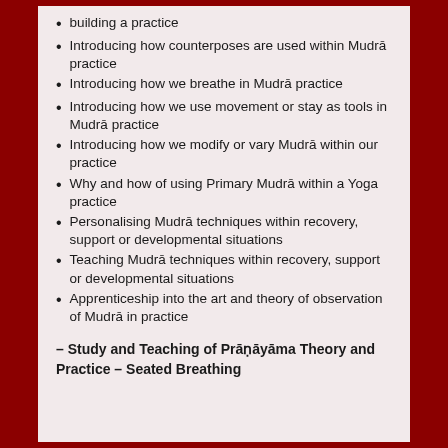building a practice
Introducing how counterposes are used within Mudrā practice
Introducing how we breathe in Mudrā practice
Introducing how we use movement or stay as tools in Mudrā practice
Introducing how we modify or vary Mudrā within our practice
Why and how of using Primary Mudrā within a Yoga practice
Personalising Mudrā techniques within recovery, support or developmental situations
Teaching Mudrā techniques within recovery, support or developmental situations
Apprenticeship into the art and theory of observation of Mudrā in practice
– Study and Teaching of Prāṇāyāma Theory and Practice – Seated Breathing